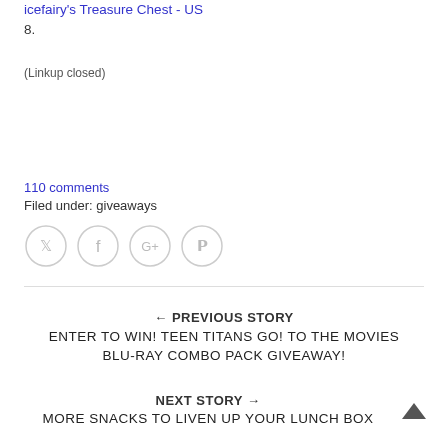icefairy's Treasure Chest - US
8.
(Linkup closed)
110 comments
Filed under: giveaways
[Figure (other): Social sharing icons: Twitter, Facebook, Google+, Pinterest — four circular outline buttons]
← PREVIOUS STORY
ENTER TO WIN! TEEN TITANS GO! TO THE MOVIES BLU-RAY COMBO PACK GIVEAWAY!
NEXT STORY →
MORE SNACKS TO LIVEN UP YOUR LUNCH BOX